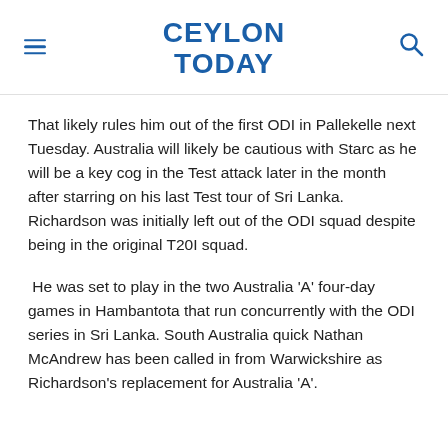CEYLON TODAY
That likely rules him out of the first ODI in Pallekelle next Tuesday. Australia will likely be cautious with Starc as he will be a key cog in the Test attack later in the month after starring on his last Test tour of Sri Lanka. Richardson was initially left out of the ODI squad despite being in the original T20I squad.
He was set to play in the two Australia 'A' four-day games in Hambantota that run concurrently with the ODI series in Sri Lanka. South Australia quick Nathan McAndrew has been called in from Warwickshire as Richardson's replacement for Australia 'A'.